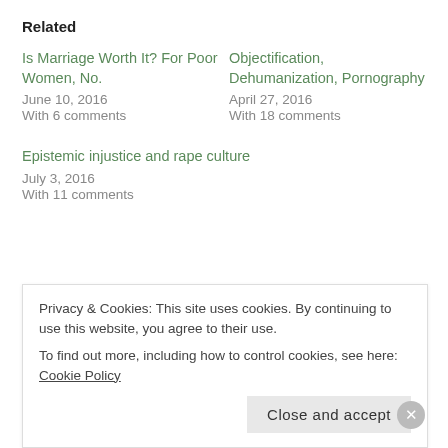Related
Is Marriage Worth It? For Poor Women, No.
June 10, 2016
With 6 comments
Objectification, Dehumanization, Pornography
April 27, 2016
With 18 comments
Epistemic injustice and rape culture
July 3, 2016
With 11 comments
FREE RANGE CHILDREN
Privacy & Cookies: This site uses cookies. By continuing to use this website, you agree to their use.
To find out more, including how to control cookies, see here: Cookie Policy
Close and accept